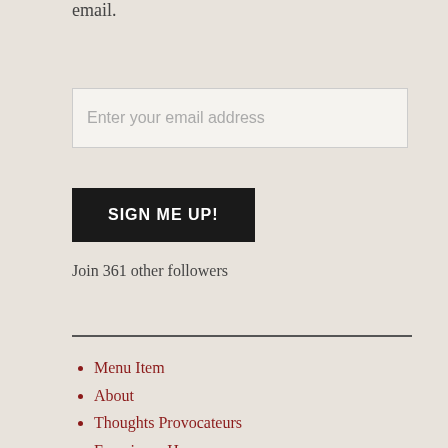email.
Enter your email address
SIGN ME UP!
Join 361 other followers
Menu Item
About
Thoughts Provocateurs
Franciscan Hymns
Franciscan miscellany
Christian Cryptics